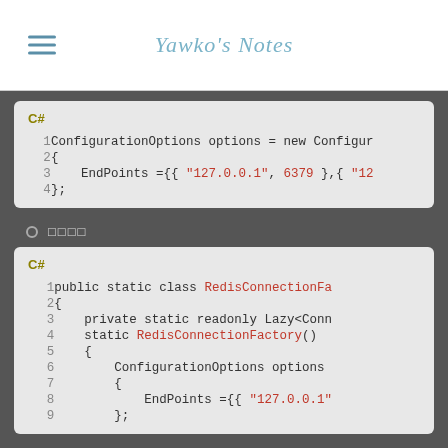Yawko's Notes
[Figure (screenshot): C# code block showing ConfigurationOptions with EndPoints]
□□□□
[Figure (screenshot): C# code block showing public static class RedisConnectionFactory with Lazy and ConfigurationOptions]